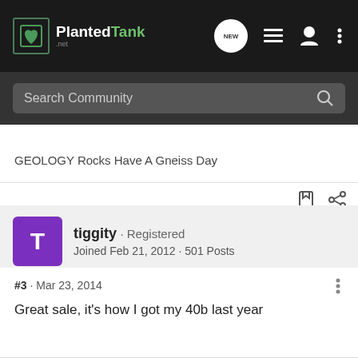PlantedTank - Search Community
GEOLOGY Rocks Have A Gneiss Day
tiggity · Registered
Joined Feb 21, 2012 · 501 Posts
#3 · Mar 23, 2014
Great sale, it's how I got my 40b last year